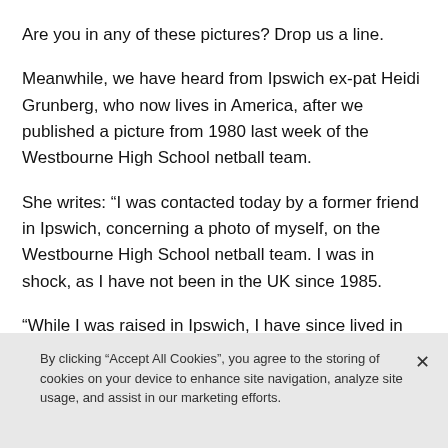Are you in any of these pictures? Drop us a line.
Meanwhile, we have heard from Ipswich ex-pat Heidi Grunberg, who now lives in America, after we published a picture from 1980 last week of the Westbourne High School netball team.
She writes: “I was contacted today by a former friend in Ipswich, concerning a photo of myself, on the Westbourne High School netball team. I was in shock, as I have not been in the UK since 1985.
“While I was raised in Ipswich, I have since lived in many places around the world, and now reside in Albuquerque New Mexico.
By clicking “Accept All Cookies”, you agree to the storing of cookies on your device to enhance site navigation, analyze site usage, and assist in our marketing efforts.